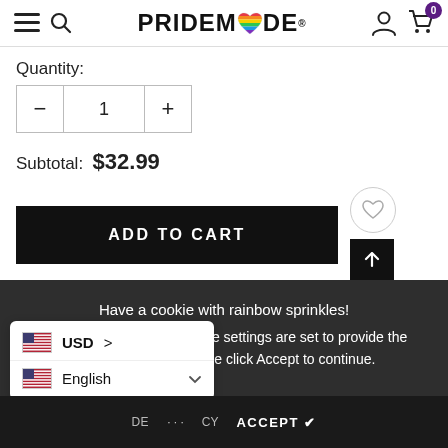PRIDEMODE header with hamburger, search, user, cart (0)
Quantity:
— 1 +
Subtotal:  $32.99
ADD TO CART
Buy with amazon pay
Have a cookie with rainbow sprinkles! Just so you know, our cookie settings are set to provide the best experience. Please click Accept to continue.
USD >
English
DE... CY  ACCEPT ✔